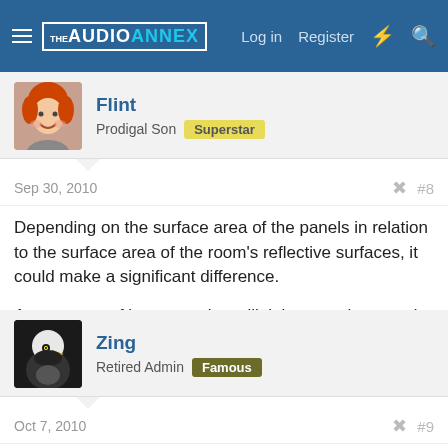THE AUDIO ANNEX | Log in | Register
Flint
Prodigal Son | Superstar
Sep 30, 2010  #8
Depending on the surface area of the panels in relation to the surface area of the room's reflective surfaces, it could make a significant difference.

Any amount of bass trapping will tighten up the sound at least a tad, if not a bunch. The only way to really know is to install them.
Zing
Retired Admin | Famous
Oct 7, 2010  #9
After recently speaking with JWL from Real Traps, I'm posting this chart for reference. Thanks again for your time and input.